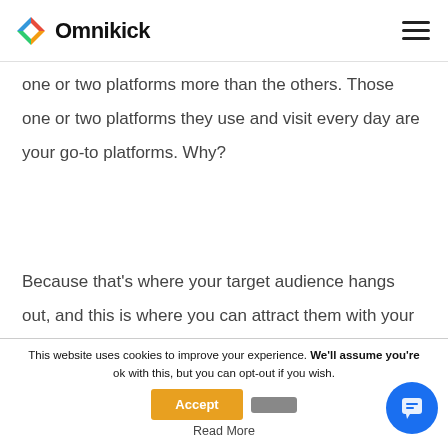Omnikick
one or two platforms more than the others. Those one or two platforms they use and visit every day are your go-to platforms. Why?
Because that's where your target audience hangs out, and this is where you can attract them with your content and social media
This website uses cookies to improve your experience. We'll assume you're ok with this, but you can opt-out if you wish.
Read More